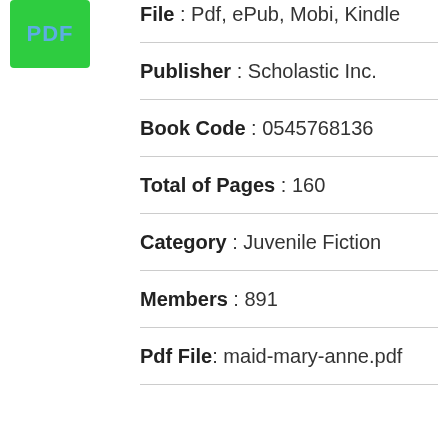[Figure (logo): Green rectangle with 'PDF' text in light blue]
File : Pdf, ePub, Mobi, Kindle
Publisher : Scholastic Inc.
Book Code : 0545768136
Total of Pages : 160
Category : Juvenile Fiction
Members : 891
Pdf File: maid-mary-anne.pdf